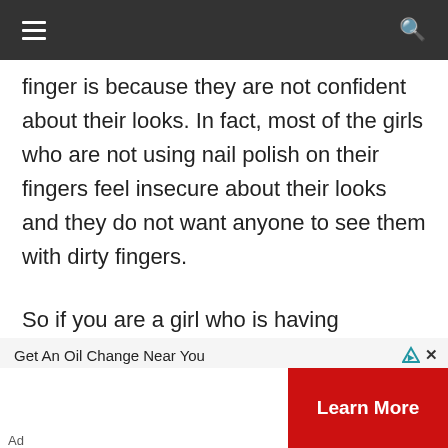Navigation bar with hamburger menu and search icon
finger is because they are not confident about their looks. In fact, most of the girls who are not using nail polish on their fingers feel insecure about their looks and they do not want anyone to see them with dirty fingers.
So if you are a girl who is having problems with your nails then you should start using artificial nails right
[Figure (screenshot): Advertisement banner: 'Get An Oil Change Near You' with a 'Learn More' red button and close/adchoices icons]